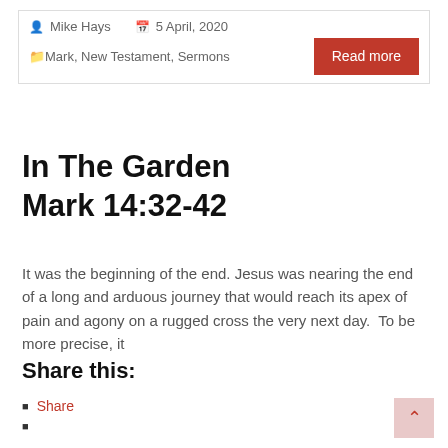Mike Hays   5 April, 2020   Mark, New Testament, Sermons   Read more
In The Garden Mark 14:32-42
It was the beginning of the end. Jesus was nearing the end of a long and arduous journey that would reach its apex of pain and agony on a rugged cross the very next day.  To be more precise, it
Share this:
Share